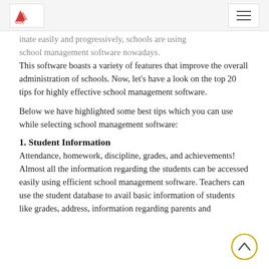Logo and navigation menu
...inate easily and progressively, schools are using school management software nowadays. This software boasts a variety of features that improve the overall administration of schools. Now, let's have a look on the top 20 tips for highly effective school management software.
Below we have highlighted some best tips which you can use while selecting school management software:
1. Student Information
Attendance, homework, discipline, grades, and achievements! Almost all the information regarding the students can be accessed easily using efficient school management software. Teachers can use the student database to avail basic information of students like grades, address, information regarding parents and